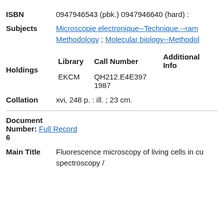ISBN   0947946543 (pbk.) 0947946640 (hard) :
Subjects   Microscopie electronique--Technique.--ram Methodology ; Molecular biology--Methodol
| Library | Call Number | Additional Info |
| --- | --- | --- |
| EKCM | QH212.E4E397 1987 |  |
Collation   xvi, 248 p. : ill. ; 23 cm.
Document Number: 6   Full Record
Main Title   Fluorescence microscopy of living cells in cu spectroscopy /